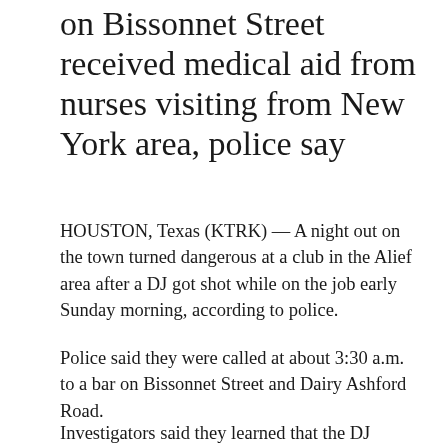on Bissonnet Street received medical aid from nurses visiting from New York area, police say
HOUSTON, Texas (KTRK) — A night out on the town turned dangerous at a club in the Alief area after a DJ got shot while on the job early Sunday morning, according to police.
Police said they were called at about 3:30 a.m. to a bar on Bissonnet Street and Dairy Ashford Road.
The security guard who was working reportedly could not identify the shooter because so many people stormed out of the club at once after the shot was fired.
Investigators said they learned that the DJ visiting...